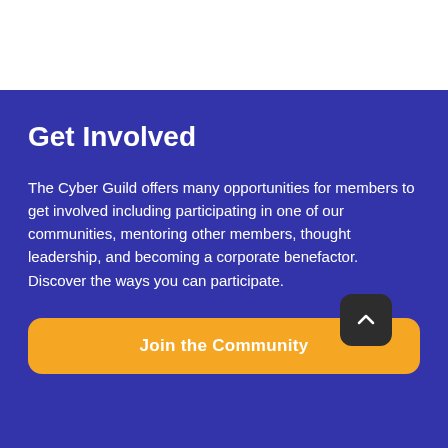Get Involved
The Cyber Guild offers many opportunities for members to get involved including participating in one of our communities, mentoring other members, thought leadership, and becoming a corporate benefactor. Discover the ways you can participate.
[Figure (other): Orange rounded button labeled 'Join the Community' with a dark rounded square scroll-to-top arrow button overlapping the bottom right corner]